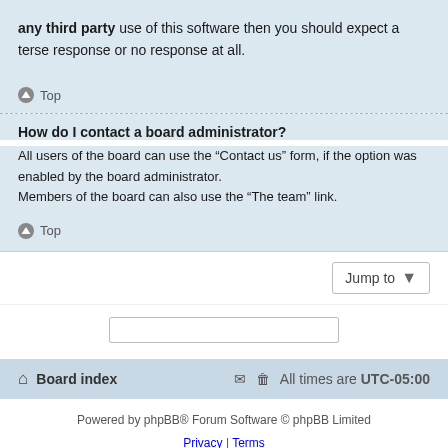any third party use of this software then you should expect a terse response or no response at all.
Top
How do I contact a board administrator?
All users of the board can use the “Contact us” form, if the option was enabled by the board administrator. Members of the board can also use the “The team” link.
Top
Jump to
Board index
All times are UTC-05:00
Powered by phpBB® Forum Software © phpBB Limited
Privacy | Terms
GZIP: Off | Load: 0.36